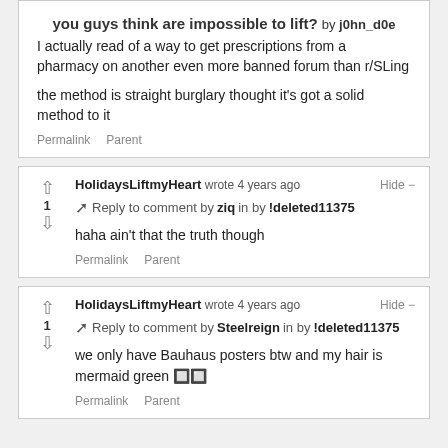you guys think are impossible to lift? by j0hn_d0e
I actually read of a way to get prescriptions from a pharmacy on another even more banned forum than r/SLing

the method is straight burglary thought it's got a solid method to it
Permalink   Parent
HolidaysLiftmyHeart wrote 4 years ago   Hide −
↑ Reply to comment by ziq in by !deleted11375
haha ain't that the truth though
Permalink   Parent
HolidaysLiftmyHeart wrote 4 years ago   Hide −
↑ Reply to comment by Steelreign in by !deleted11375
we only have Bauhaus posters btw and my hair is mermaid green 🔲🔲
Permalink   Parent